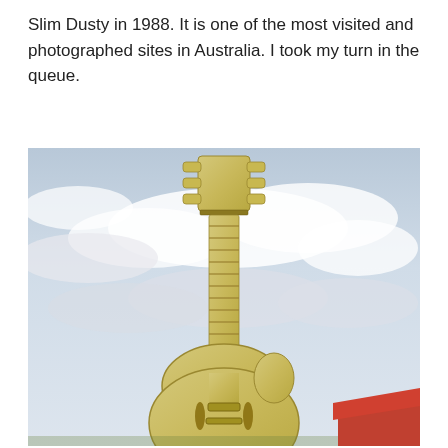Slim Dusty in 1988. It is one of the most visited and photographed sites in Australia. I took my turn in the queue.
[Figure (photo): A large golden guitar sculpture (the Big Guitar) photographed against a partly cloudy sky, with a red-roofed building visible at the bottom right. The guitar is a hollow-body electric style, gold/yellow in color, with the neck and headstock pointing upward.]